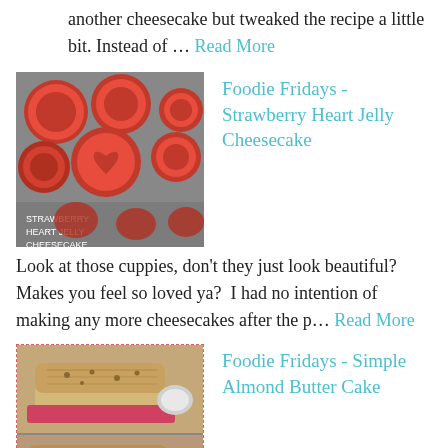another cheesecake but tweaked the recipe a little bit. Instead of … Read More
[Figure (photo): Red cupcake tins/molds with strawberry jelly cheesecakes]
Foodie Fridays - Strawberry Heart Jelly Cheesecake
Look at those cuppies, don't they just look beautiful?  Makes you feel so loved ya?  I had no intention of making any more cheesecakes after the p… Read More
[Figure (photo): Almond butter cake loaves on a pink/red surface]
Foodie Fridays - Simple Almond Butter Cake
I have not been baking since I don't know when, so last weekend I decided that I will TRY to bake something because I think my flour and ingredients …